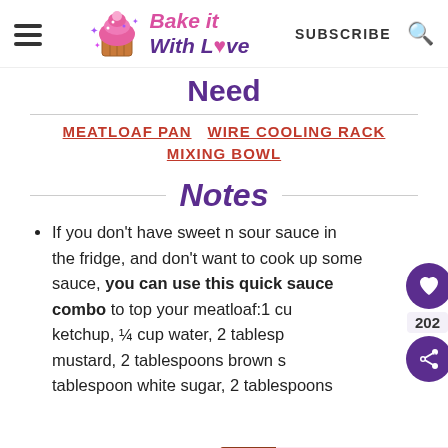Bake it With Love — SUBSCRIBE
Need
MEATLOAF PAN  WIRE COOLING RACK  MIXING BOWL
Notes
If you don't have sweet n sour sauce in the fridge, and don't want to cook up some sauce, you can use this quick sauce combo to top your meatloaf:1 cup ketchup, ¼ cup water, 2 tablespoons mustard, 2 tablespoons brown sugar, 1 tablespoon white sugar, 2 tablespoons